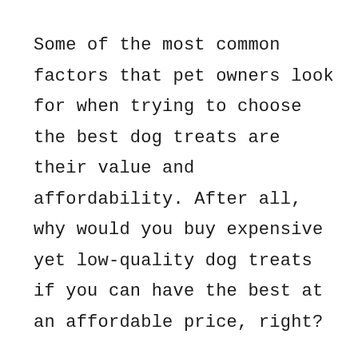Some of the most common factors that pet owners look for when trying to choose the best dog treats are their value and affordability. After all, why would you buy expensive yet low-quality dog treats if you can have the best at an affordable price, right?
So, when choosing treats for your dog, consider if the price makes sense for what